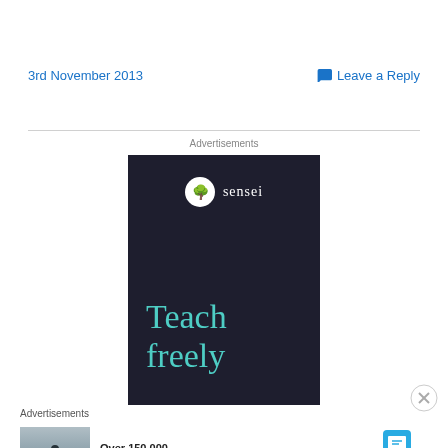3rd November 2013
Leave a Reply
Advertisements
[Figure (illustration): Sensei advertisement with dark navy background showing 'sensei' logo with tree icon and text 'Teach freely' in teal]
Advertisements
[Figure (illustration): Day One journal app advertisement showing person photographing landscape with text 'Over 150,000 5-star reviews' and Day One Journal logo]